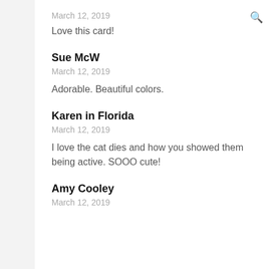March 12, 2019
Love this card!
Sue McW
March 12, 2019
Adorable. Beautiful colors.
Karen in Florida
March 12, 2019
I love the cat dies and how you showed them being active. SOOO cute!
Amy Cooley
March 12, 2019